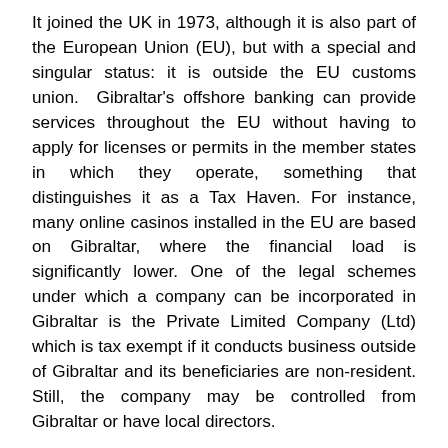It joined the UK in 1973, although it is also part of the European Union (EU), but with a special and singular status: it is outside the EU customs union. Gibraltar's offshore banking can provide services throughout the EU without having to apply for licenses or permits in the member states in which they operate, something that distinguishes it as a Tax Haven. For instance, many online casinos installed in the EU are based on Gibraltar, where the financial load is significantly lower. One of the legal schemes under which a company can be incorporated in Gibraltar is the Private Limited Company (Ltd) which is tax exempt if it conducts business outside of Gibraltar and its beneficiaries are non-resident. Still, the company may be controlled from Gibraltar or have local directors.
As a Tax Haven, for exempt companies, there is a fixed annual rate of between £200 and £300 based